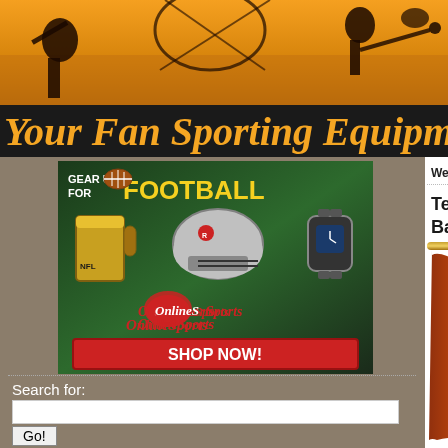[Figure (photo): Sports silhouette banner header with orange/golden gradient background showing athlete silhouettes]
Your Fan Sporting Equipme
[Figure (photo): Online Sports advertisement banner: Gear Up for Football with beer mug, football helmet, watch, OnlineSports logo, and Shop Now button]
Search for:
Go!
Sport Home
Accessories
Athletic
Audio
Auto
Baseball/Softball
Billiards
Welcome to Sport Home for your fan spe
Tennessee Volunteers 82"W x Back Drape for the Lo
[Figure (photo): Product image of orange curtain/drape panels for Tennessee Volunteers]